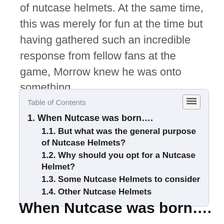unknowingly produced the very first in a long line of nutcase helmets. At the same time, this was merely for fun at the time but having gathered such an incredible response from fellow fans at the game, Morrow knew he was onto something.
| Table of Contents |
| --- |
| 1. When Nutcase was born.... |
| 1.1. But what was the general purpose of Nutcase Helmets? |
| 1.2. Why should you opt for a Nutcase Helmet? |
| 1.3. Some Nutcase Helmets to consider |
| 1.4. Other Nutcase Helmets |
When Nutcase was born….